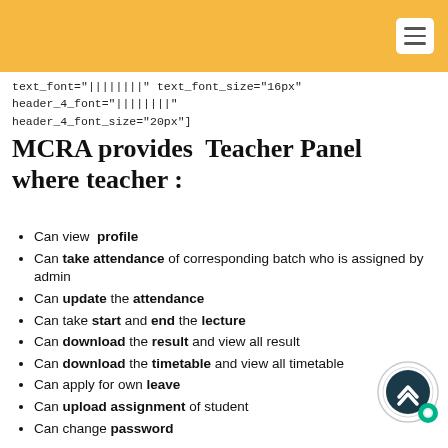text_font="||||||||" text_font_size="16px" header_4_font="||||||||" header_4_font_size="20px"]
MCRA provides  Teacher Panel where teacher :
Can view  profile
Can take attendance of corresponding batch who is assigned by admin
Can update the attendance
Can take start and end the lecture
Can download the result and view all result
Can download the timetable and view all timetable
Can apply for own leave
Can upload assignment of student
Can change password